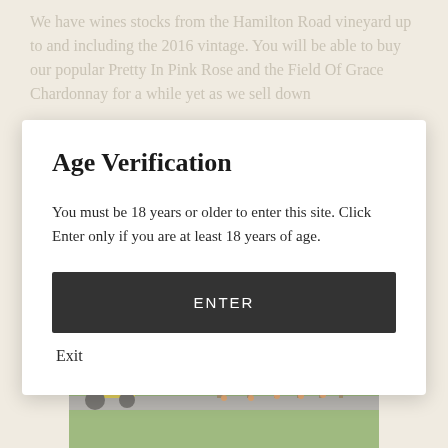We have wines stocks from the Hamilton Road vineyard up to and including the 2016 vintage. You will be able to buy our popular Pretty In Pink Rose and the Field Of Grace Chardonnay for a while yet as we sell down...
[Figure (photo): Photograph of a vineyard with young trees in a row, green grass, a road, and a yellow tractor in the background.]
Age Verification
You must be 18 years or older to enter this site. Click Enter only if you are at least 18 years of age.
ENTER
Exit